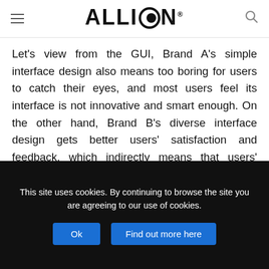ALLION®
Let's view from the GUI, Brand A's simple interface design also means too boring for users to catch their eyes, and most users feel its interface is not innovative and smart enough. On the other hand, Brand B's diverse interface design gets better users' satisfaction and feedback, which indirectly means that users' objective task performances are not equal to the subjective emotional feelings. Although Brand C's UI design can catch user's eyes, but its performance and fluency cannot keep up with the pace of intelligent interfaces, but drag the entire TV
This site uses cookies. By continuing to browse the site you are agreeing to our use of cookies.